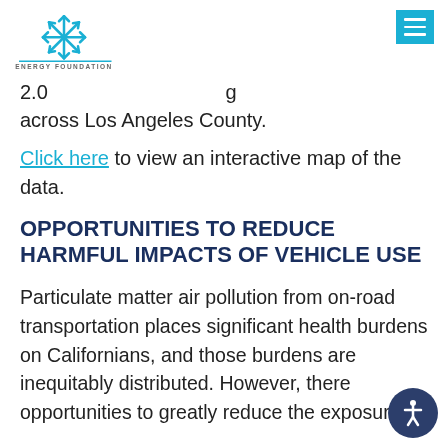Energy Foundation
2.0 … across Los Angeles County.
Click here to view an interactive map of the data.
OPPORTUNITIES TO REDUCE HARMFUL IMPACTS OF VEHICLE USE
Particulate matter air pollution from on-road transportation places significant health burdens on Californians, and those burdens are inequitably distributed. However, there opportunities to greatly reduce the exposure